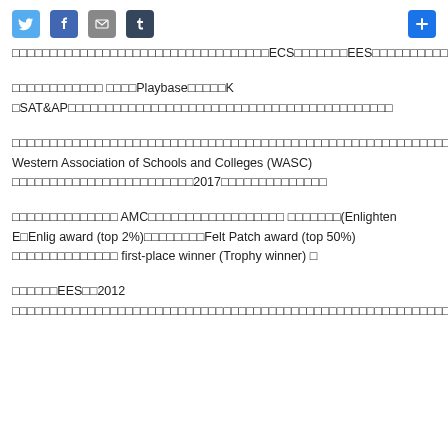[Figure (other): Social media sharing icons: Twitter, Facebook, Email, Tumblr, and a blue plus button]
□□□□□□□□□□□□□□□□□□□□□□□□□□□□□□□□□□ECS□□□□□□□EES□□□□□□□□□□EP□□□□□□□□
□□□□□□□□□□□□ □□□□Playbase□□□□□K □SAT&AP□□□□□□□□□□□□□□□□□□□□□□□□□□□□□□□□□□□□□□□□□□□
□□□□□□□□□□□□□□□□□□□□□□□□□□□□□□□□□□□□□□□□□□□□□□□□□□□□□□□□□□□□□□□□□□□□□□□□□□□□□□□□□□□□□□□□□□□□□□□□□□Western Association of Schools and Colleges (WASC) □□□□□□□□□□□□□□□□□□□□□□□□2017□□□□□□□□□□□□□□
□□□□□□□□□□□□□□ AMC□□□□□□□□□□□□□□□□□□ □□□□□□□(Enlighten E□Enlig award (top 2%)□□□□□□□□Felt Patch award (top 50%) □□□□□□□□□□□□□□ first-place winner (Trophy winner) □
□□□□□□EES□□2012 □□□□□□□□□□□□□□□□□□□□□□□□□□□□□□□□□□□□□□□□□□□□□□□□□□□□□□□□□□□□